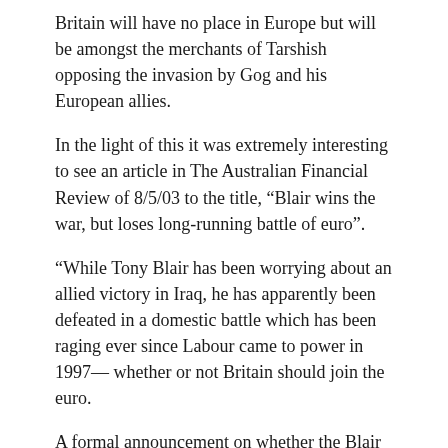Britain will have no place in Europe but will be amongst the merchants of Tarshish opposing the invasion by Gog and his European allies.
In the light of this it was extremely interesting to see an article in The Australian Financial Review of 8/5/03 to the title, “Blair wins the war, but loses long-running battle of euro”.
“While Tony Blair has been worrying about an allied victory in Iraq, he has apparently been defeated in a domestic battle which has been raging ever since Labour came to power in 1997— whether or not Britain should join the euro.
A formal announcement on whether the Blair government will hold a referendum on the issue is due within the month.
But the only real remaining question is whether the pro-euro Blair will run up the white flag, by ruling out a vote before the next general election due in 2005, or leave himself the opportunity to regroup and fight another day by saying that